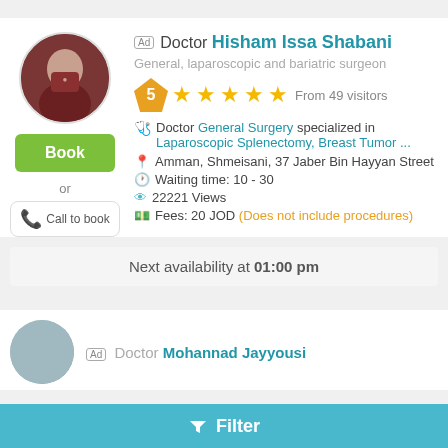[Figure (photo): Circular profile photo of Dr. Hisham Issa Shabani in dark red/maroon scrubs]
Ad  Doctor Hisham Issa Shabani
General, laparoscopic and bariatric surgeon
5 ★★★★★ From 49 visitors
Doctor General Surgery specialized in Laparoscopic Splenectomy, Breast Tumor ...
Amman, Shmeisani, 37 Jaber Bin Hayyan Street
Waiting time: 10 - 30
22221 Views
Fees: 20 JOD (Does not include procedures)
Next availability at 01:00 pm
Doctor Mohannad Jayyousi
Filter